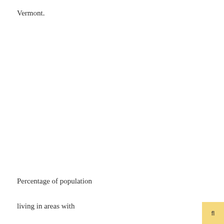Vermont.
Percentage of population
living in areas with